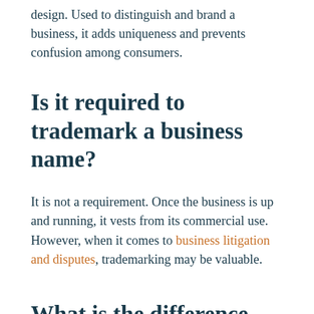design. Used to distinguish and brand a business, it adds uniqueness and prevents confusion among consumers.
Is it required to trademark a business name?
It is not a requirement. Once the business is up and running, it vests from its commercial use. However, when it comes to business litigation and disputes, trademarking may be valuable.
What is the difference between